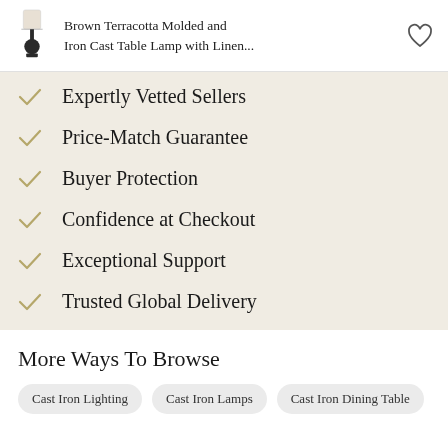Brown Terracotta Molded and Iron Cast Table Lamp with Linen...
Expertly Vetted Sellers
Price-Match Guarantee
Buyer Protection
Confidence at Checkout
Exceptional Support
Trusted Global Delivery
More Ways To Browse
Cast Iron Lighting   Cast Iron Lamps   Cast Iron Dining Table